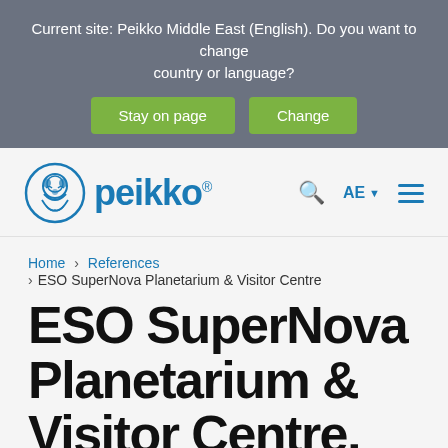Current site: Peikko Middle East (English). Do you want to change country or language?
Stay on page
Change
[Figure (logo): Peikko logo: lion head icon with 'peikko' text in blue, registered trademark symbol]
AE
Home › References
› ESO SuperNova Planetarium & Visitor Centre
ESO SuperNova Planetarium & Visitor Centre, Garching, Germany